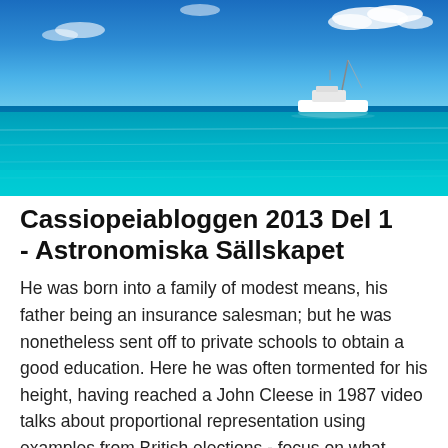[Figure (photo): Aerial/wide view of a white boat on calm turquoise-blue ocean water under a blue sky with white clouds.]
Cassiopeiabloggen 2013 Del 1 - Astronomiska Sällskapet
He was born into a family of modest means, his father being an insurance salesman; but he was nonetheless sent off to private schools to obtain a good education. Here he was often tormented for his height, having reached a John Cleese in 1987 video talks about proportional representation using examples from British elections - focus on what